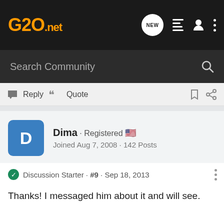G20.net
Search Community
Reply  Quote
Dima · Registered 🇺🇸
Joined Aug 7, 2008 · 142 Posts
Discussion Starter · #9 · Sep 18, 2013
Thanks! I messaged him about it and will see.